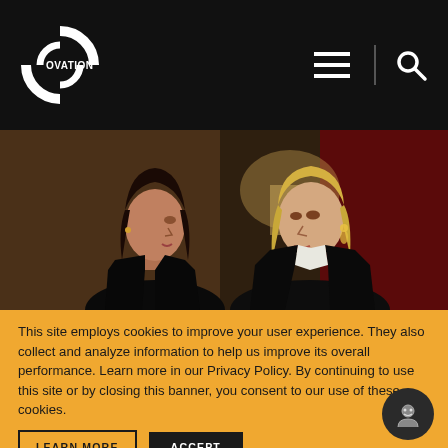[Figure (logo): Ovation TV logo — white circle/ring with OVATION text on black header bar]
[Figure (photo): Two women facing each other in a dramatic scene — one with dark hair in black top, one blonde in black blazer, warm dark interior setting]
This site employs cookies to improve your user experience. They also collect and analyze information to help us improve its overall performance. Learn more in our Privacy Policy. By continuing to use this site or by closing this banner, you consent to our use of these cookies.
LEARN MORE
ACCEPT